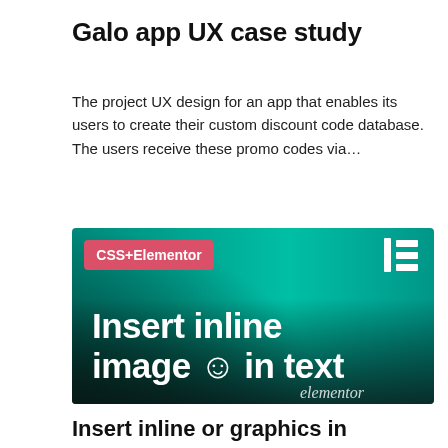Galo app UX case study
The project UX design for an app that enables its users to create their custom discount code database. The users receive these promo codes via…
[Figure (screenshot): Banner image with teal-to-dark gradient background. Top-left: pink/red pill label 'CSS+Elementor'. Top-right: Elementor 'IE' logo in white. Center: large white bold text 'Insert inline image ☺ in text'. Bottom-right: 'elementor' in white cursive script.]
Insert inline or graphics in